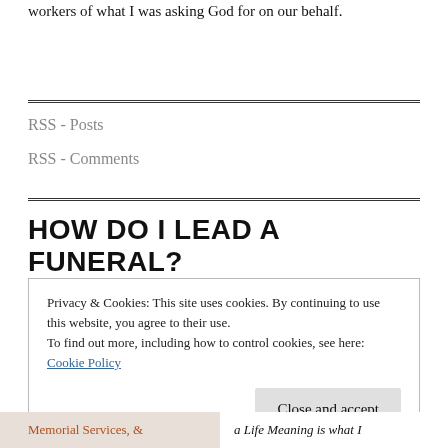workers of what I was asking God for on our behalf.
RSS - Posts
RSS - Comments
HOW DO I LEAD A FUNERAL?
Privacy & Cookies: This site uses cookies. By continuing to use this website, you agree to their use.
To find out more, including how to control cookies, see here: Cookie Policy
Close and accept
Memorial Services, &
a Life Meaning is what I